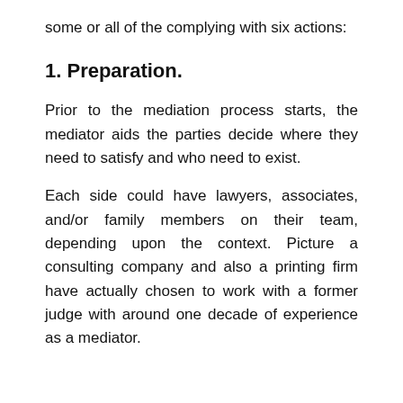some or all of the complying with six actions:
1. Preparation.
Prior to the mediation process starts, the mediator aids the parties decide where they need to satisfy and who need to exist.
Each side could have lawyers, associates, and/or family members on their team, depending upon the context. Picture a consulting company and also a printing firm have actually chosen to work with a former judge with around one decade of experience as a mediator.